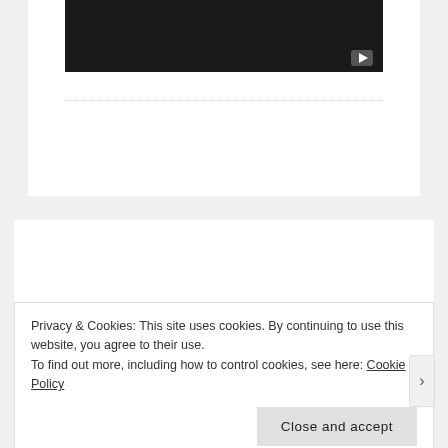[Figure (screenshot): Video thumbnail with dark background and play button icon in bottom-right corner]
Reason Number One Why My Book is Worthless : Sideways
Privacy & Cookies: This site uses cookies. By continuing to use this website, you agree to their use.
To find out more, including how to control cookies, see here: Cookie Policy
Close and accept